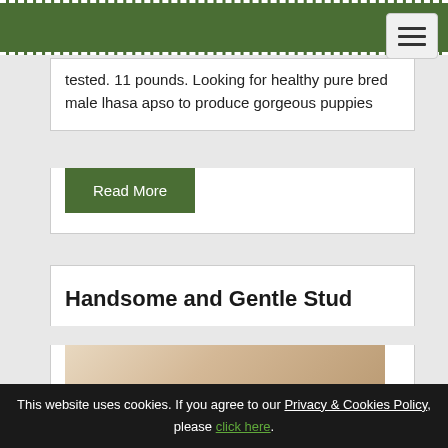tested. 11 pounds. Looking for healthy pure bred male lhasa apso to produce gorgeous puppies
Read More
Handsome and Gentle Stud
[Figure (photo): Partial view of a dog, beige/cream colored, against a light background]
This website uses cookies. If you agree to our Privacy & Cookies Policy, please click here.